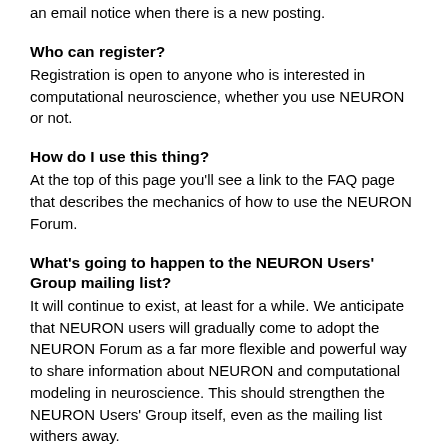an email notice when there is a new posting.
Who can register?
Registration is open to anyone who is interested in computational neuroscience, whether you use NEURON or not.
How do I use this thing?
At the top of this page you'll see a link to the FAQ page that describes the mechanics of how to use the NEURON Forum.
What's going to happen to the NEURON Users' Group mailing list?
It will continue to exist, at least for a while. We anticipate that NEURON users will gradually come to adopt the NEURON Forum as a far more flexible and powerful way to share information about NEURON and computational modeling in neuroscience. This should strengthen the NEURON Users' Group itself, even as the mailing list withers away.
What if I my question is off the record, on the QT, and very hush-hush?
As before, you can always contact Michael Hines or Ted